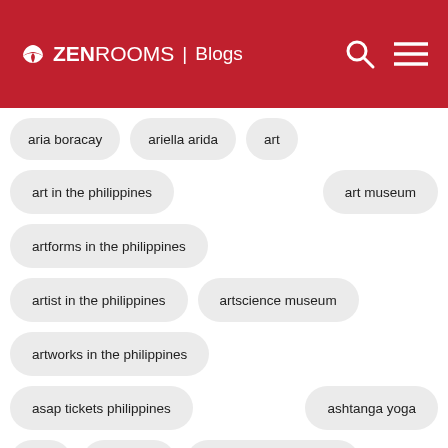ZEN ROOMS | Blogs
aria boracay
ariella arida
art
art in the philippines
art museum
artforms in the philippines
artist in the philippines
artscience museum
artworks in the philippines
asap tickets philippines
ashtanga yoga
Asia
asia novo
asia novo boutique hotel
asia novo hotel
asian mother
ati-atihan festival
ati-atihan festival 2020